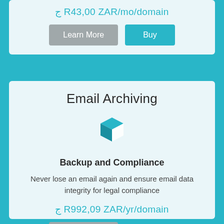R43,00 ZAR/mo/domain
Learn More
Buy
Email Archiving
[Figure (illustration): 3D box / package icon in teal color representing email archiving]
Backup and Compliance
Never lose an email again and ensure email data integrity for legal compliance
R992,09 ZAR/yr/domain
Learn More
Buy